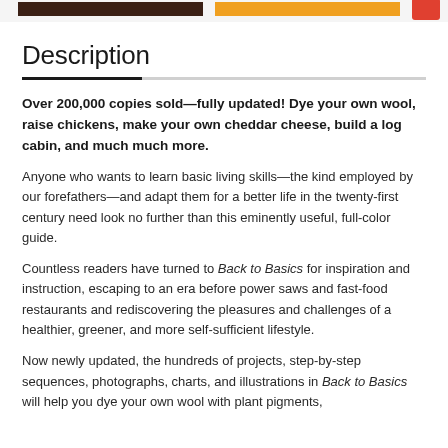[navigation bar with dark, orange, and red elements]
Description
Over 200,000 copies sold—fully updated! Dye your own wool, raise chickens, make your own cheddar cheese, build a log cabin, and much much more.
Anyone who wants to learn basic living skills—the kind employed by our forefathers—and adapt them for a better life in the twenty-first century need look no further than this eminently useful, full-color guide.
Countless readers have turned to Back to Basics for inspiration and instruction, escaping to an era before power saws and fast-food restaurants and rediscovering the pleasures and challenges of a healthier, greener, and more self-sufficient lifestyle.
Now newly updated, the hundreds of projects, step-by-step sequences, photographs, charts, and illustrations in Back to Basics will help you dye your own wool with plant pigments,